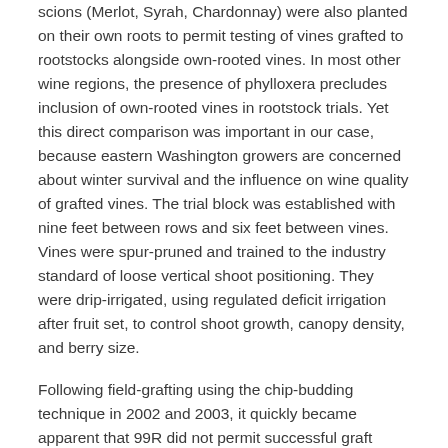scions (Merlot, Syrah, Chardonnay) were also planted on their own roots to permit testing of vines grafted to rootstocks alongside own-rooted vines. In most other wine regions, the presence of phylloxera precludes inclusion of own-rooted vines in rootstock trials. Yet this direct comparison was important in our case, because eastern Washington growers are concerned about winter survival and the influence on wine quality of grafted vines. The trial block was established with nine feet between rows and six feet between vines. Vines were spur-pruned and trained to the industry standard of loose vertical shoot positioning. They were drip-irrigated, using regulated deficit irrigation after fruit set, to control shoot growth, canopy density, and berry size.
Following field-grafting using the chip-budding technique in 2002 and 2003, it quickly became apparent that 99R did not permit successful graft survival. Both the rootstock and the scion cultivars grafted to it suffered dieback during winter. The main reason for this problem seems to be the long vegetative cycle of 99R, which results in late cane maturation (shoots turning from green to brown) and, consequently, late cold acclimation. We have since noticed that those vines that survived the first few years have had no further problems with winter survival, probably because once established, the woody rootstocks and grafts no longer suffer from